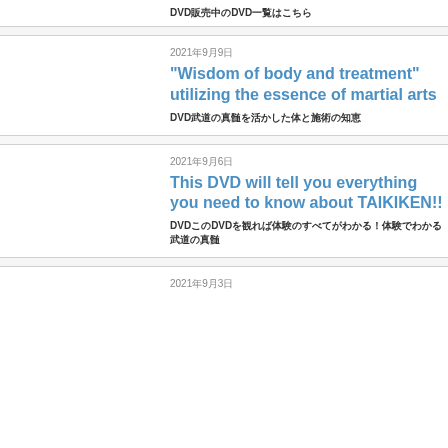DVD販売中のDVD一覧はこちら
2021年9月9日
“Wisdom of body and treatment” utilizing the essence of martial arts
DVD武道の真髄を活かした体と施術の知恵
2021年9月6日
This DVD will tell you everything you need to know about TAIKIKEN!!
DVDこのDVDを観れば体験のすべてがわかる！体験でわかる武道の真髄
2021年9月3日